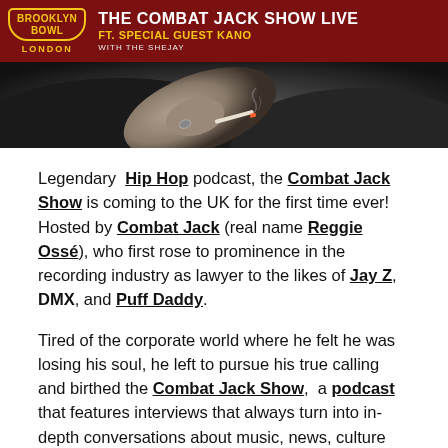[Figure (photo): Event promotional banner for The Combat Jack Show Live at Brooklyn Bowl London, featuring a black and white photo of a person holding a cigarette, with a dark red header bar showing the Brooklyn Bowl London logo and the show title with special guest Kano and The Shejay.]
Legendary Hip Hop podcast, the Combat Jack Show is coming to the UK for the first time ever! Hosted by Combat Jack (real name Reggie Ossé), who first rose to prominence in the recording industry as lawyer to the likes of Jay Z, DMX, and Puff Daddy.
Tired of the corporate world where he felt he was losing his soul, he left to pursue his true calling and birthed the Combat Jack Show, a podcast that features interviews that always turn into in-depth conversations about music, news, culture and race with some of Hip Hop's biggest